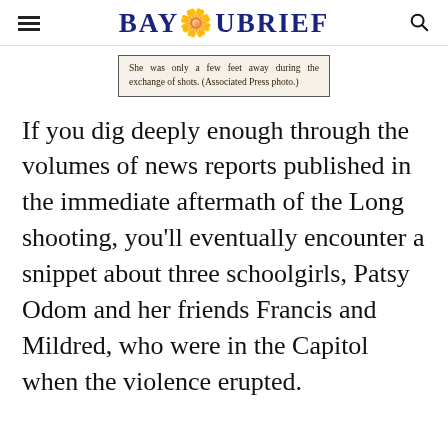BAYOUBRIEF
[Figure (photo): Partial newspaper clipping with caption text: 'She was only a few feet away during the exchange of shots. (Associated Press photo.)']
She was only a few feet away during the exchange of shots. (Associated Press photo.)
If you dig deeply enough through the volumes of news reports published in the immediate aftermath of the Long shooting, you'll eventually encounter a snippet about three schoolgirls, Patsy Odom and her friends Francis and Mildred, who were in the Capitol when the violence erupted.